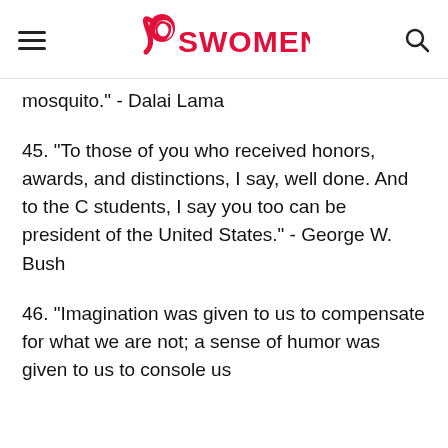SWOMENIO
mosquito." - Dalai Lama
45. "To those of you who received honors, awards, and distinctions, I say, well done. And to the C students, I say you too can be president of the United States." - George W. Bush
46. "Imagination was given to us to compensate for what we are not; a sense of humor was given to us to console us